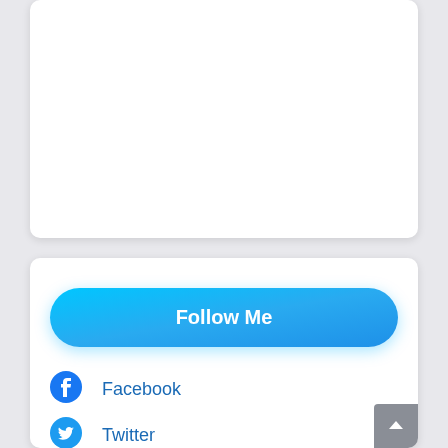[Figure (screenshot): Top white card panel (empty content area)]
[Figure (screenshot): Bottom white card with Follow Me button and social links (Facebook, Twitter)]